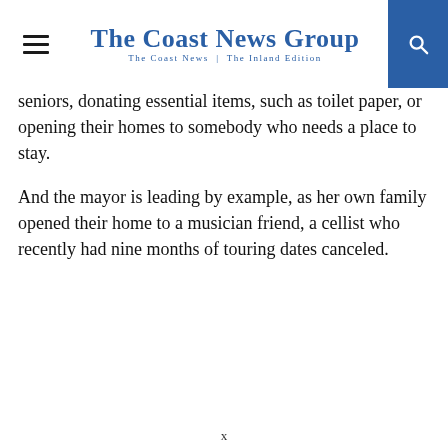The Coast News Group | The Coast News | The Inland Edition
seniors, donating essential items, such as toilet paper, or opening their homes to somebody who needs a place to stay.
And the mayor is leading by example, as her own family opened their home to a musician friend, a cellist who recently had nine months of touring dates canceled.
x